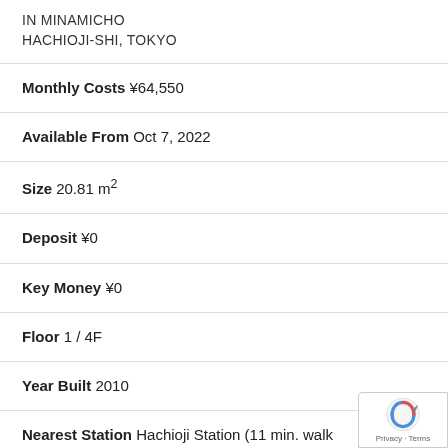IN MINAMICHO
HACHIOJI-SHI, TOKYO
Monthly Costs ¥64,550
Available From Oct 7, 2022
Size 20.81 m²
Deposit ¥0
Key Money ¥0
Floor 1 / 4F
Year Built 2010
Nearest Station Hachioji Station (11 min. walk
↓ Shortlist